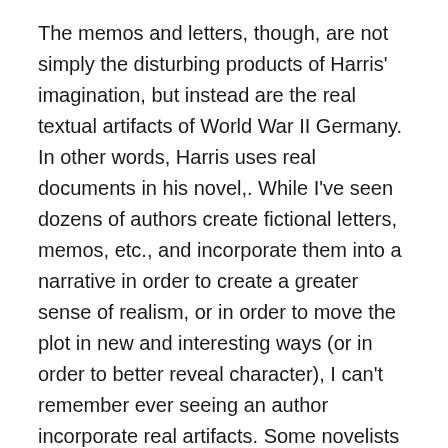The memos and letters, though, are not simply the disturbing products of Harris' imagination, but instead are the real textual artifacts of World War II Germany. In other words, Harris uses real documents in his novel,. While I've seen dozens of authors create fictional letters, memos, etc., and incorporate them into a narrative in order to create a greater sense of realism, or in order to move the plot in new and interesting ways (or in order to better reveal character), I can't remember ever seeing an author incorporate real artifacts. Some novelists use real song lyrics, or real telecasts, or real speeches, to place their characters into a real world where Lenny Bruce is giving his stand-up routine, or the Doors are performing on stage, or someone is watching Ronald Reagan on TV… but real documents that the audience has likely never read, that were revealed in court proceedings after the